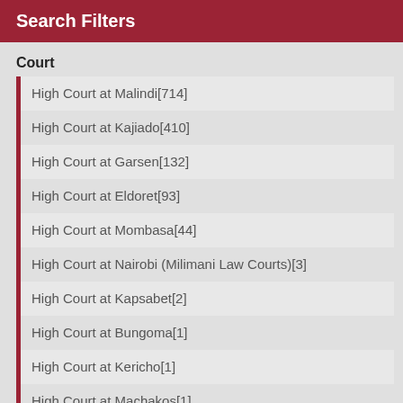Search Filters
Court
High Court at Malindi[714]
High Court at Kajiado[410]
High Court at Garsen[132]
High Court at Eldoret[93]
High Court at Mombasa[44]
High Court at Nairobi (Milimani Law Courts)[3]
High Court at Kapsabet[2]
High Court at Bungoma[1]
High Court at Kericho[1]
High Court at Machakos[1]
High Court at Migori[1]